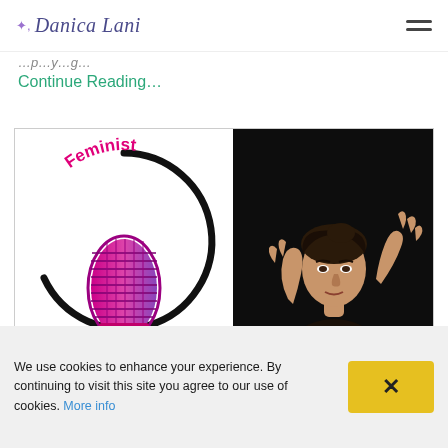Danica Lani
…body text partial…
Continue Reading…
[Figure (illustration): Feminist Friday podcast logo (left half): pink/magenta vintage microphone with 'Feminist Friday' text in pink and purple on white background with black circle arc. Right half: portrait photo of a woman with dark hair against a black background, arms raised in an expressive pose.]
We use cookies to enhance your experience. By continuing to visit this site you agree to our use of cookies. More info